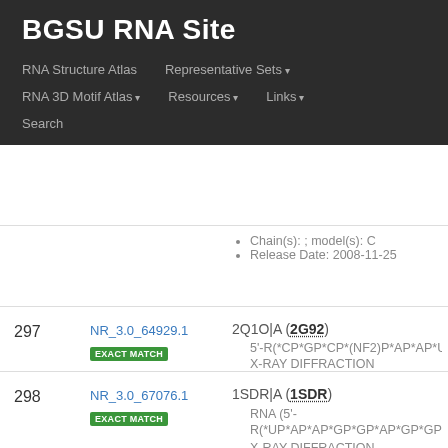BGSU RNA Site
RNA Structure Atlas | Representative Sets ▾ | RNA 3D Motif Atlas ▾ | Resources ▾ | Links ▾ | Search
Chain(s): ; model(s): C
Release Date: 2008-11-25
297  NR_3.0_64929.1  EXACT MATCH
2Q1O|A (2G92)
• 5'-R(*CP*GP*CP*(NF2)P*AP*AP*UP*UP*A
• X-RAY DIFFRACTION
• Chain(s): ; model(s): A
• Release Date: 2006-04-18
298  NR_3.0_67076.1  EXACT MATCH
1SDR|A (1SDR)
• RNA (5'-R(*UP*AP*AP*GP*GP*AP*GP*GP*UP*GP
• X-RAY DIFFRACTION
• Chain(s): ; model(s): A
• Release Date: 1995-02-27